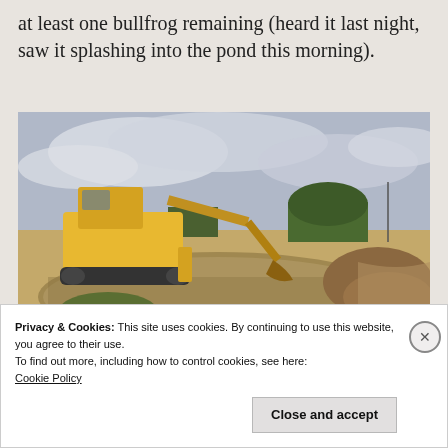at least one bullfrog remaining (heard it last night, saw it splashing into the pond this morning).
[Figure (photo): A yellow backhoe/excavator parked next to a muddy pond in a flat rural field. Cloudy sky overhead, green trees in background, dirt mound on right side.]
Privacy & Cookies: This site uses cookies. By continuing to use this website, you agree to their use.
To find out more, including how to control cookies, see here:
Cookie Policy
Close and accept